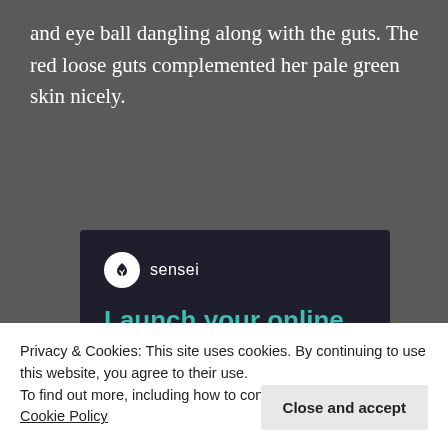and eye ball dangling along with the guts. The red loose guts complemented her pale green skin nicely.
[Figure (infographic): Sensei advertisement: dark navy background with Sensei logo (tree icon in white circle), teal headline 'Launch your online course with WordPress', and a teal 'Learn More' pill button.]
Privacy & Cookies: This site uses cookies. By continuing to use this website, you agree to their use.
To find out more, including how to control cookies, see here: Cookie Policy
Close and accept